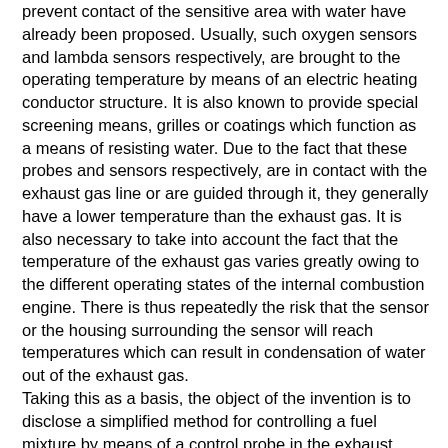prevent contact of the sensitive area with water have already been proposed. Usually, such oxygen sensors and lambda sensors respectively, are brought to the operating temperature by means of an electric heating conductor structure. It is also known to provide special screening means, grilles or coatings which function as a means of resisting water. Due to the fact that these probes and sensors respectively, are in contact with the exhaust gas line or are guided through it, they generally have a lower temperature than the exhaust gas. It is also necessary to take into account the fact that the temperature of the exhaust gas varies greatly owing to the different operating states of the internal combustion engine. There is thus repeatedly the risk that the sensor or the housing surrounding the sensor will reach temperatures which can result in condensation of water out of the exhaust gas.
Taking this as a basis, the object of the invention is to disclose a simplified method for controlling a fuel mixture by means of a control probe in the exhaust system of a mobile internal combustion engine. In particular, the problems described with respect to the